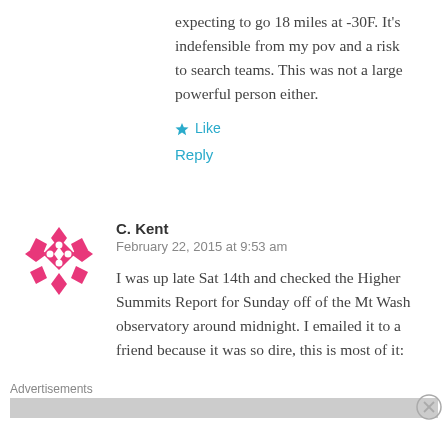expecting to go 18 miles at -30F. It's indefensible from my pov and a risk to search teams. This was not a large powerful person either.
Like
Reply
C. Kent
February 22, 2015 at 9:53 am
[Figure (illustration): Pink/magenta geometric snowflake-like avatar icon for user C. Kent]
I was up late Sat 14th and checked the Higher Summits Report for Sunday off of the Mt Wash observatory around midnight. I emailed it to a friend because it was so dire, this is most of it:
Advertisements